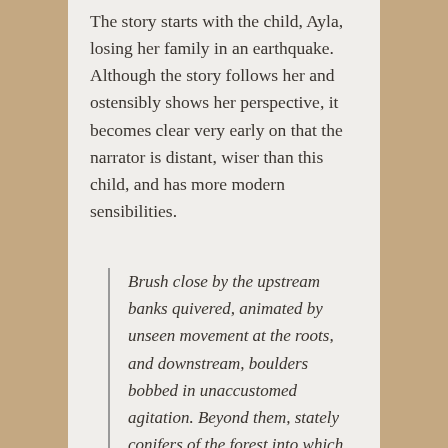The story starts with the child, Ayla, losing her family in an earthquake. Although the story follows her and ostensibly shows her perspective, it becomes clear very early on that the narrator is distant, wiser than this child, and has more modern sensibilities.
Brush close by the upstream banks quivered, animated by unseen movement at the roots, and downstream, boulders bobbed in unaccustomed agitation. Beyond them, stately conifers of the forest into which the stream flowed lurched